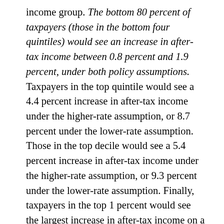income group. The bottom 80 percent of taxpayers (those in the bottom four quintiles) would see an increase in after-tax income between 0.8 percent and 1.9 percent, under both policy assumptions. Taxpayers in the top quintile would see a 4.4 percent increase in after-tax income under the higher-rate assumption, or 8.7 percent under the lower-rate assumption. Those in the top decile would see a 5.4 percent increase in after-tax income under the higher-rate assumption, or 9.3 percent under the lower-rate assumption. Finally, taxpayers in the top 1 percent would see the largest increase in after-tax income on a static basis, driven by both the lower top marginal tax rate and the lower corporate income tax.